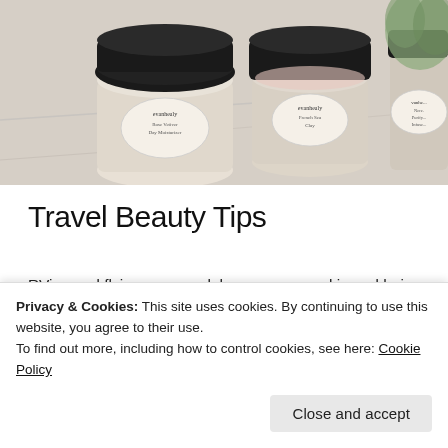[Figure (photo): Three small dark-lidded cosmetic jars labeled with 'evanhealy' brand on a marble surface with greenery in background. Labels include 'Rose Vetiver Day Moisturizer', 'French Sea Clay', and a partially visible third jar.]
Travel Beauty Tips
RVing and flying can wreak havoc on your skin and hair. Here are my top 10 tips for self-care on the road. #TravelBeauty for the win!
[Figure (photo): Partial teal/turquoise colored photo strip visible at bottom of content area.]
Privacy & Cookies: This site uses cookies. By continuing to use this website, you agree to their use.
To find out more, including how to control cookies, see here: Cookie Policy